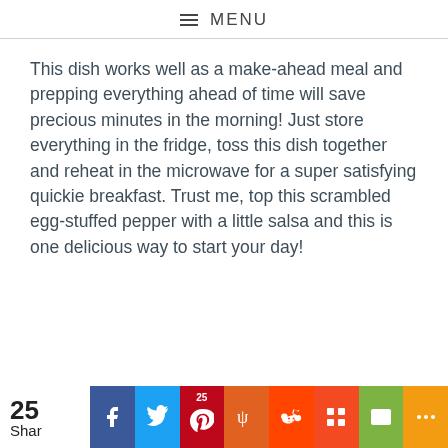≡ MENU
This dish works well as a make-ahead meal and prepping everything ahead of time will save precious minutes in the morning! Just store everything in the fridge, toss this dish together and reheat in the microwave for a super satisfying quickie breakfast. Trust me, top this scrambled egg-stuffed pepper with a little salsa and this is one delicious way to start your day!
25 Shar | Facebook | Twitter | Pinterest 25 | Yummly | Reddit | Mix | Email | More